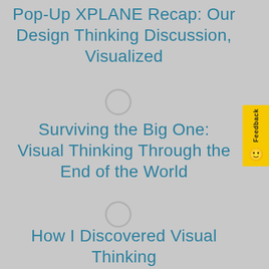Pop-Up XPLANE Recap: Our Design Thinking Discussion, Visualized
Surviving the Big One: Visual Thinking Through the End of the World
How I Discovered Visual Thinking